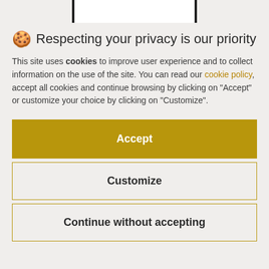[Figure (screenshot): Top portion of a webpage showing a product image partially visible at the top]
🍪 Respecting your privacy is our priority
This site uses cookies to improve user experience and to collect information on the use of the site. You can read our cookie policy, accept all cookies and continue browsing by clicking on "Accept" or customize your choice by clicking on "Customize".
Accept
Customize
Continue without accepting